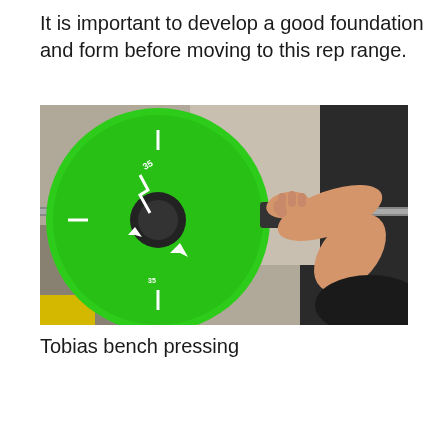It is important to develop a good foundation and form before moving to this rep range.
[Figure (photo): A person bench pressing a barbell with a large green bumper plate. The green plate is prominently shown on the left side, and the person's hands grip the barbell on the right while lying on a bench press bench.]
Tobias bench pressing